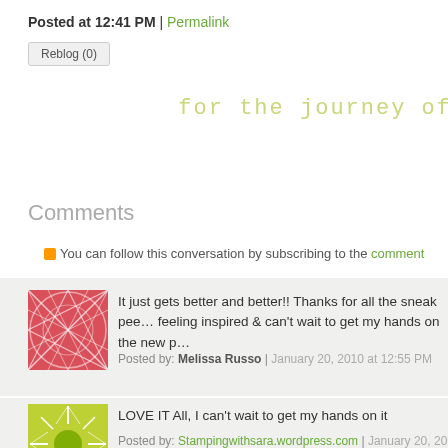Posted at 12:41 PM | Permalink
Reblog (0)
for the journey of
Comments
You can follow this conversation by subscribing to the comment
It just gets better and better!! Thanks for all the sneak pee… feeling inspired & can't wait to get my hands on the new p…
Posted by: Melissa Russo | January 20, 2010 at 12:55 PM
LOVE IT All, I can't wait to get my hands on it
Posted by: Stampingwithsara.wordpress.com | January 20, 20…